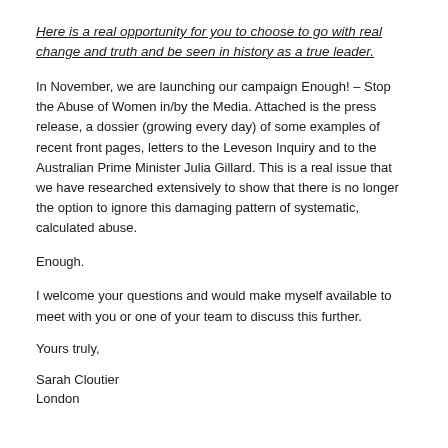Here is a real opportunity for you to choose to go with real change and truth and be seen in history as a true leader.
In November, we are launching our campaign Enough! – Stop the Abuse of Women in/by the Media. Attached is the press release, a dossier (growing every day) of some examples of recent front pages, letters to the Leveson Inquiry and to the Australian Prime Minister Julia Gillard. This is a real issue that we have researched extensively to show that there is no longer the option to ignore this damaging pattern of systematic, calculated abuse.
Enough.
I welcome your questions and would make myself available to meet with you or one of your team to discuss this further.
Yours truly,
Sarah Cloutier
London